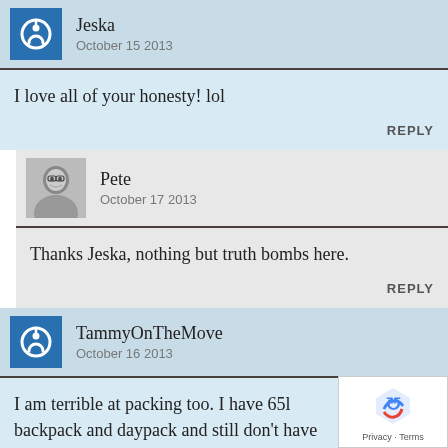Jeska
October 15 2013
I love all of your honesty! lol
REPLY
Pete
October 17 2013
Thanks Jeska, nothing but truth bombs here.
REPLY
TammyOnTheMove
October 16 2013
I am terrible at packing too. I have 65l backpack and daypack and still don't have